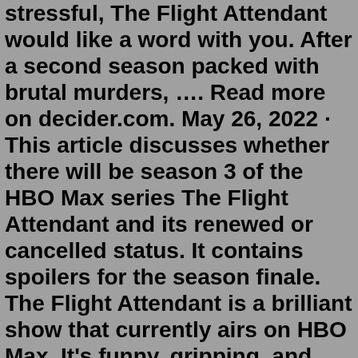stressful, The Flight Attendant would like a word with you. After a second season packed with brutal murders, …. Read more on decider.com. May 26, 2022 · This article discusses whether there will be season 3 of the HBO Max series The Flight Attendant and its renewed or cancelled status. It contains spoilers for the season finale. The Flight Attendant is a brilliant show that currently airs on HBO Max. It's funny, gripping, and has a crazy method of storytelling. May 31, 2022 · The Flight Attendant might be preparing for landing.. Season two came to a close on May 26, and Kaley Cuoco says it may have been the series finale. In a recent interview, Cuoco, who stars as the ... Jul 12, 2022 · The White Lotus is just wrapping up production of its second season and The Flight Attendant finished its sophomore season in May. Both shows could potentially come back for third seasons, accordin… sydney cbd office rental ratesxa